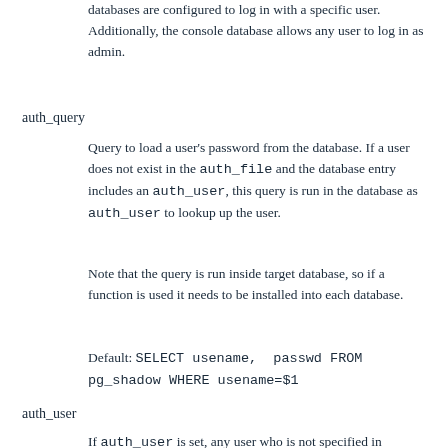databases are configured to log in with a specific user. Additionally, the console database allows any user to log in as admin.
auth_query
Query to load a user's password from the database. If a user does not exist in the auth_file and the database entry includes an auth_user, this query is run in the database as auth_user to lookup up the user.
Note that the query is run inside target database, so if a function is used it needs to be installed into each database.
Default: SELECT usename, passwd FROM pg_shadow WHERE usename=$1
auth_user
If auth_user is set, any user who is not specified in